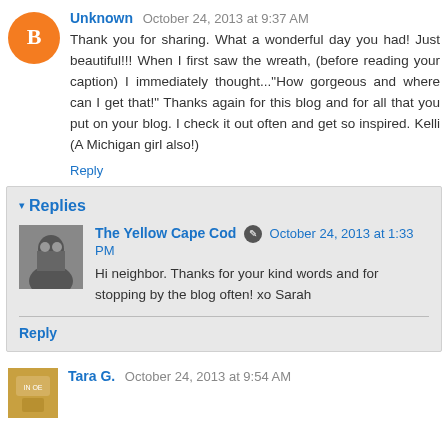[Figure (illustration): Orange circle avatar with white letter B]
Unknown October 24, 2013 at 9:37 AM
Thank you for sharing. What a wonderful day you had! Just beautiful!!! When I first saw the wreath, (before reading your caption) I immediately thought..."How gorgeous and where can I get that!" Thanks again for this blog and for all that you put on your blog. I check it out often and get so inspired. Kelli (A Michigan girl also!)
Reply
Replies
[Figure (photo): Black and white photo of a person]
The Yellow Cape Cod October 24, 2013 at 1:33 PM
Hi neighbor. Thanks for your kind words and for stopping by the blog often! xo Sarah
Reply
[Figure (illustration): Small avatar image for Tara G.]
Tara G. October 24, 2013 at 9:54 AM